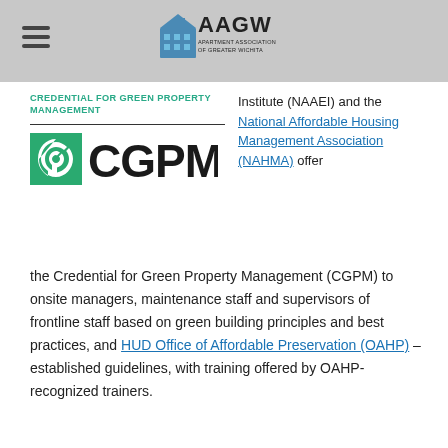[Figure (logo): AAGW Apartment Association of Greater Wichita logo in header]
CREDENTIAL FOR GREEN PROPERTY MANAGEMENT
[Figure (logo): CGPM logo with green leaf icon and CGPM text]
Institute (NAAEI) and the National Affordable Housing Management Association (NAHMA) offer the Credential for Green Property Management (CGPM) to onsite managers, maintenance staff and supervisors of frontline staff based on green building principles and best practices, and HUD Office of Affordable Preservation (OAHP) – established guidelines, with training offered by OAHP-recognized trainers.